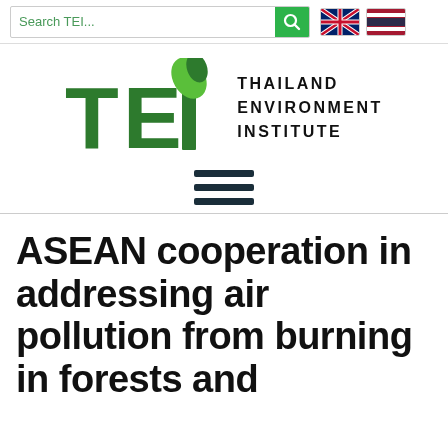Search TEI... [search button] [UK flag] [Thailand flag]
[Figure (logo): TEI Thailand Environment Institute logo with green stylized T, E, I letters and leaf icon, followed by text 'THAILAND ENVIRONMENT INSTITUTE']
[Figure (infographic): Hamburger menu icon with three dark horizontal lines]
ASEAN cooperation in addressing air pollution from burning in forests and